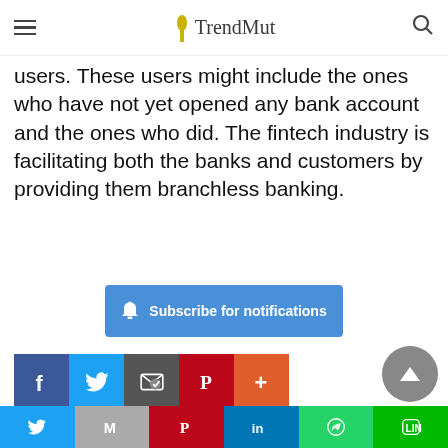TrendMut
users. These users might include the ones who have not yet opened any bank account and the ones who did. The fintech industry is facilitating both the banks and customers by providing them branchless banking.
[Figure (other): Blue subscribe for notifications button with bell icon]
[Figure (other): Social share buttons row: Facebook, Twitter, Email, Pinterest, More]
[Figure (other): Back to top arrow button (grey circle)]
[Figure (other): Author card with avatar placeholder and text 'Muhammad Saad Khan']
Twitter | Gmail | Pinterest | LinkedIn | WhatsApp | LINE share buttons